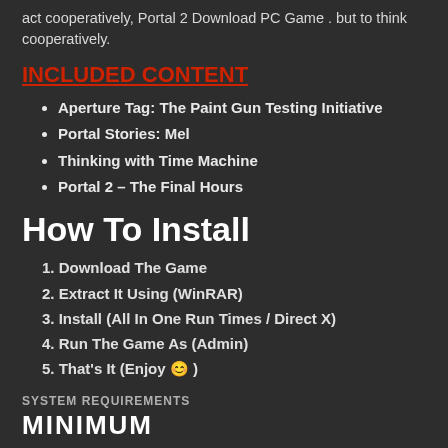act cooperatively, Portal 2 Download PC Game . but to think cooperatively.
INCLUDED CONTENT
Aperture Tag: The Paint Gun Testing Initiative
Portal Stories: Mel
Thinking with Time Machine
Portal 2 – The Final Hours
How To Install
1. Download The Game
2. Extract It Using (WinRAR)
3. Install (All In One Run Times / Direct X)
4. Run The Game As (Admin)
5. That's It (Enjoy 😊 )
SYSTEM REQUIREMENTS
MINIMUM